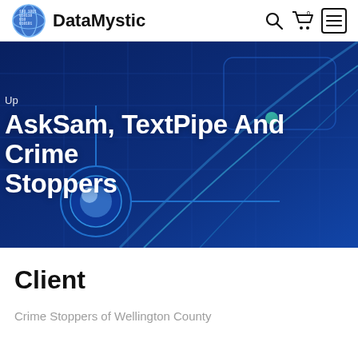DataMystic
[Figure (screenshot): DataMystic website header with globe logo, brand name, search icon, cart icon, and hamburger menu]
AskSam, TextPipe And Crime Stoppers
Client
Crime Stoppers of Wellington County